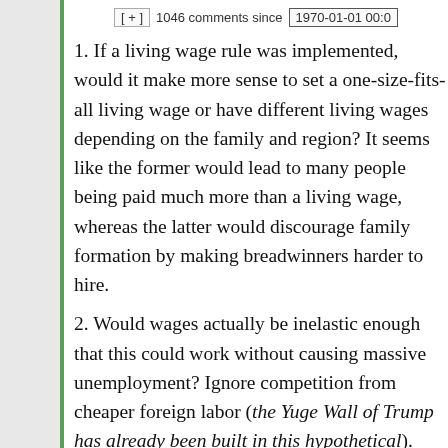[ + ]  1046 comments since  1970-01-01 00:0
1. If a living wage rule was implemented, would it make more sense to set a one-size-fits-all living wage or have different living wages depending on the family and region? It seems like the former would lead to many people being paid much more than a living wage, whereas the latter would discourage family formation by making breadwinners harder to hire.
2. Would wages actually be inelastic enough that this could work without causing massive unemployment? Ignore competition from cheaper foreign labor (the Yuge Wall of Trump has already been built in this hypothetical).
3. Is there a way a reasonably tightly-knit community could implement set their own living wage without involving the government? Is that not just the sense of creating and enforcing a community norm, but also in the sense of "would the state step in to stop them"
FWIW, I'm sort of sympathetic to living wage rhetoric when it's employed as part of the broader welfare-state package. I'm not anti-capitalist so much as an anti-anti-capitalist: socialist ideas fo